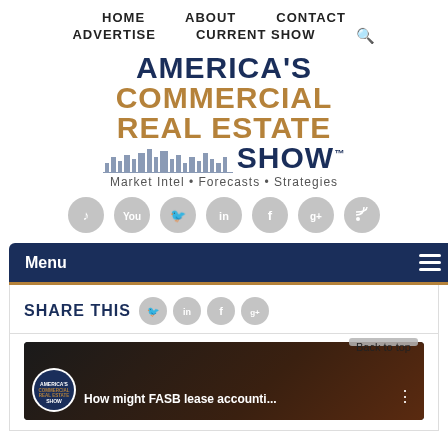HOME   ABOUT   CONTACT   ADVERTISE   CURRENT SHOW
[Figure (logo): America's Commercial Real Estate Show logo with tagline 'Market Intel • Forecasts • Strategies' and social media icons]
Menu
SHARE THIS
[Figure (screenshot): Video thumbnail showing 'How might FASB lease accounti...' with America's Commercial Real Estate Show logo]